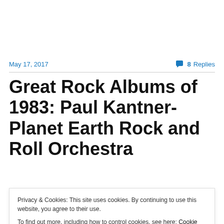May 17, 2017
8 Replies
Great Rock Albums of 1983: Paul Kantner- Planet Earth Rock and Roll Orchestra
Privacy & Cookies: This site uses cookies. By continuing to use this website, you agree to their use.
To find out more, including how to control cookies, see here: Cookie Policy
Close and accept